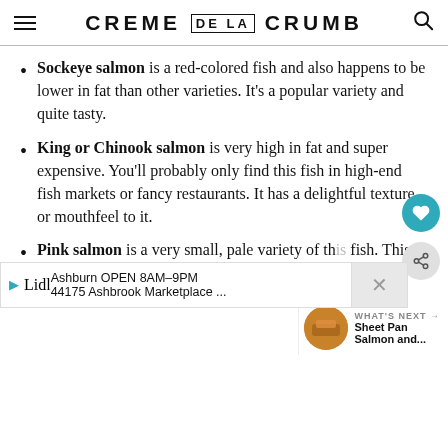CREME DE LA CRUMB
Sockeye salmon is a red-colored fish and also happens to be lower in fat than other varieties. It's a popular variety and quite tasty.
King or Chinook salmon is very high in fat and super expensive. You'll probably only find this fish in high-end fish markets or fancy restaurants. It has a delightful texture, or mouthfeel to it.
Pink salmon is a very small, pale variety of this fish. This kind of salmon is most often used in the canning process, and what you'll find when you purchase cans of salmon.
[Figure (screenshot): Lidl advertisement overlay showing Ashburn store open 8AM-9PM at 44175 Ashbrook Marketplace]
(partial fourth bullet, cut off at bottom of page)